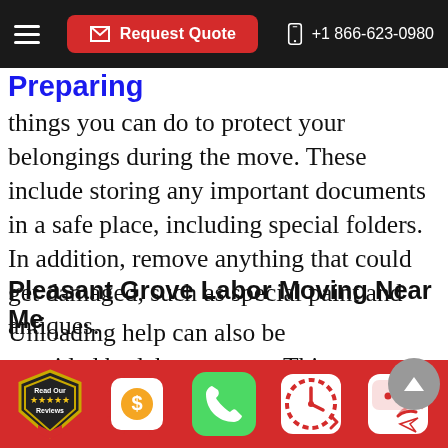Request Quote | +1 866-623-0980
things you can do to protect your belongings during the move. These include storing any important documents in a safe place, including special folders. In addition, remove anything that could get damaged, such as special paint and antiques.
Pleasant Grove Labor Moving Near Me
Unloading help can also be provided by labor movers. This service involves moving your possessions to a truck or pad that is properly
[Figure (infographic): Bottom navigation bar with icons: Read Our Reviews badge, dollar sign estimate icon, green phone call icon, clock/schedule icon, chat/message icon]